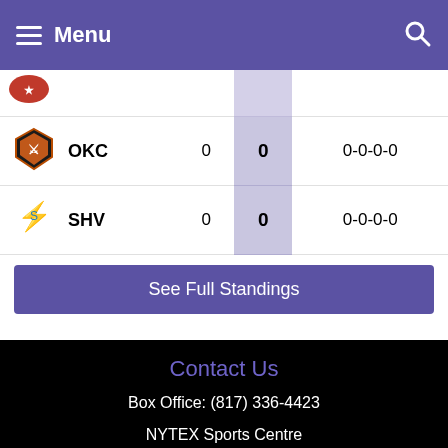Menu
| Team |  | PTS | Record |
| --- | --- | --- | --- |
| OKC | 0 | 0 | 0-0-0-0 |
| SHV | 0 | 0 | 0-0-0-0 |
See Full Standings
Contact Us
Box Office: (817) 336-4423
NYTEX Sports Centre
8851 Ice House Drive
North Richland Hills, TX
76180
United States